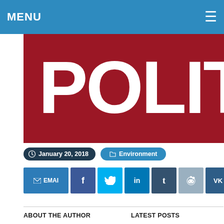MENU
[Figure (logo): POLITICO logo: white text on dark red/crimson background]
January 20, 2018   Environment
[Figure (infographic): Social share buttons row: EMAIL, Facebook, Twitter, LinkedIn, Tumblr, Reddit, VK, Pinterest, Pocket]
ABOUT THE AUTHOR
LATEST POSTS